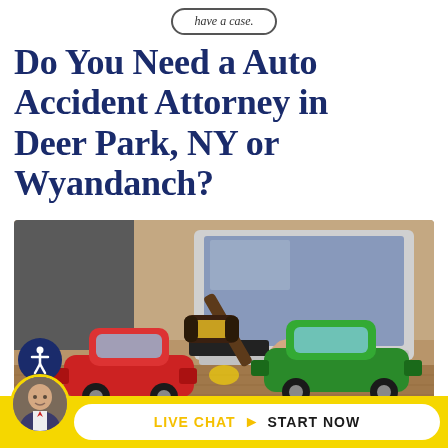have a case.
Do You Need a Auto Accident Attorney in Deer Park, NY or Wyandanch?
[Figure (photo): Photo of a judge's gavel and two toy cars (one red, one green) colliding on a wooden table, with a person working on a laptop in the background. Represents auto accident legal services.]
LIVE CHAT  START NOW